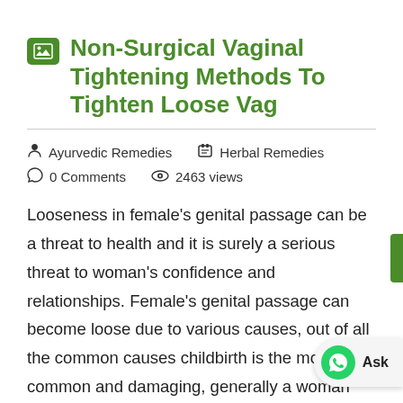Non-Surgical Vaginal Tightening Methods To Tighten Loose Vag
Ayurvedic Remedies   Herbal Remedies   0 Comments   2463 views
Looseness in female's genital passage can be a threat to health and it is surely a serious threat to woman's confidence and relationships. Female's genital passage can become loose due to various causes, out of all the common causes childbirth is the most common and damaging, generally a woman face looseness in her passage to some